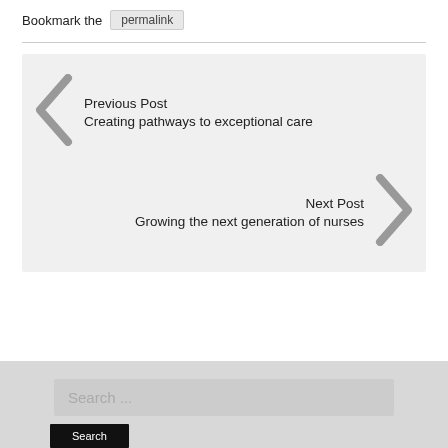Bookmark the permalink
Previous Post
Creating pathways to exceptional care
Next Post
Growing the next generation of nurses
Search ...